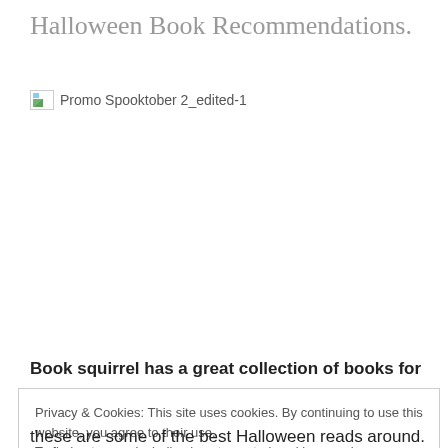Halloween Book Recommendations.
[Figure (illustration): Broken image placeholder with alt text 'Promo Spooktober 2_edited-1']
Book squirrel has a great collection of books for
Privacy & Cookies: This site uses cookies. By continuing to use this website, you agree to their use.
To find out more, including how to control cookies, see here: Cookie Policy
Close and accept
these are some of the best Halloween reads around.